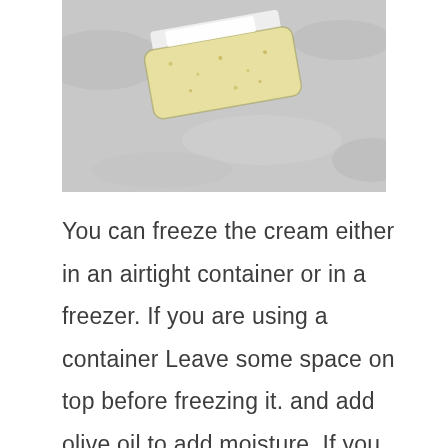[Figure (photo): A sealed plastic freezer bag containing pale yellow cream or batter, lying on a grey marble or stone surface.]
You can freeze the cream either in an airtight container or in a freezer. If you are using a container Leave some space on top before freezing it. and add olive oil to add moisture. If you are